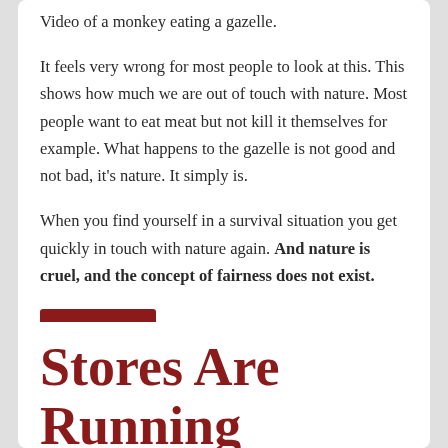Video of a monkey eating a gazelle.
It feels very wrong for most people to look at this. This shows how much we are out of touch with nature. Most people want to eat meat but not kill it themselves for example. What happens to the gazelle is not good and not bad, it's nature. It simply is.
When you find yourself in a survival situation you get quickly in touch with nature again. And nature is cruel, and the concept of fairness does not exist.
Read More
Stores Are Running